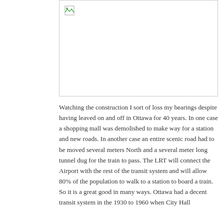[Figure (photo): A photograph placeholder (broken image icon) — image did not load, showing a white rectangle with a small broken image icon in the top-left corner.]
Watching the construction I sort of loss my bearings despite having leaved on and off in Ottawa for 40 years. In one case a shopping mall was demolished to make way for a station and new roads. In another case an entire scenic road had to be moved several meters North and a several meter long tunnel dug for the train to pass. The LRT will connect the Airport with the rest of the transit system and will allow 80% of the population to walk to a station to board a train. So it is a great good in many ways. Ottawa had a decent transit system in the 1930 to 1960 when City Hall